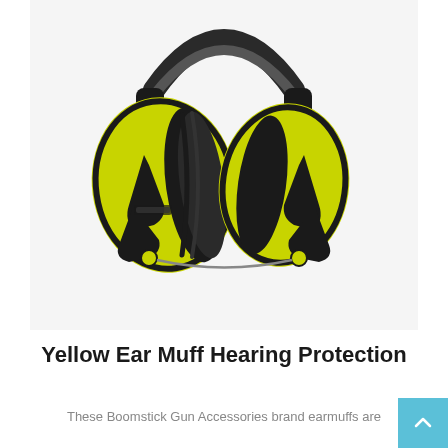[Figure (photo): Yellow and black ear muff hearing protection product photo on light gray background. The earmuffs have large yellow oval ear cups with black hardware, adjustable black headband with padding, and folding mechanism.]
Yellow Ear Muff Hearing Protection
These Boomstick Gun Accessories brand earmuffs are